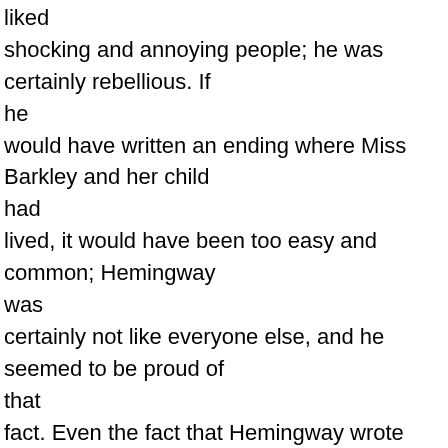liked shocking and annoying people; he was certainly rebellious. If he would have written an ending where Miss Barkley and her child had lived, it would have been too easy and common; Hemingway was certainly not like everyone else, and he seemed to be proud of that fact. Even the fact that Hemingway wrote curses and had a lot of sex in his books shows that he liked to shock people. When his publisher asked that he change some words and make his books more acceptable to people, Hemingway refused, then was forced to